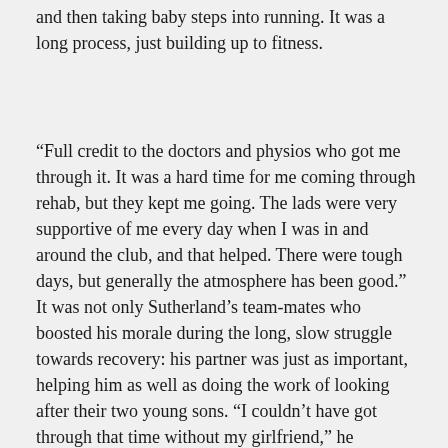and then taking baby steps into running. It was a long process, just building up to fitness.
“Full credit to the doctors and physios who got me through it. It was a hard time for me coming through rehab, but they kept me going. The lads were very supportive of me every day when I was in and around the club, and that helped. There were tough days, but generally the atmosphere has been good.”
It was not only Sutherland’s team-mates who boosted his morale during the long, slow struggle towards recovery: his partner was just as important, helping him as well as doing the work of looking after their two young sons. “I couldn’t have got through that time without my girlfriend,” he continued. “She was getting up in the morning and seeing to the kids and then having to come and see to me afterwards to get me up out of bed. It was a tough two months